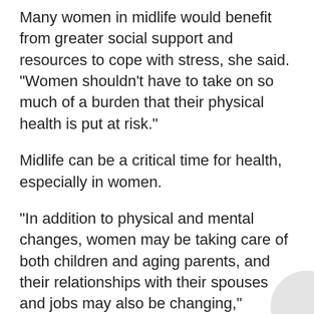Many women in midlife would benefit from greater social support and resources to cope with stress, she said. "Women shouldn't have to take on so much of a burden that their physical health is put at risk."
Midlife can be a critical time for health, especially in women.
"In addition to physical and mental changes, women may be taking care of both children and aging parents, and their relationships with their spouses and jobs may also be changing," Stewart said. "What happens to a person during these years has direct consequences for their health and well-being as they progress into old age, when they become more likely to experience physical illness or disability."